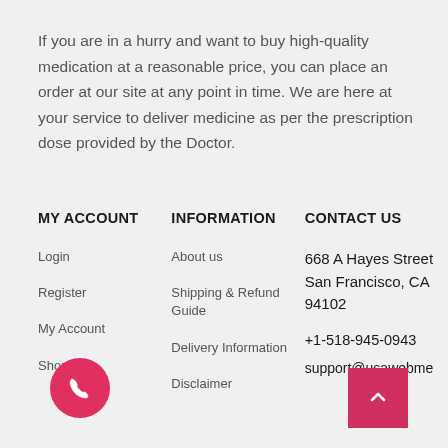If you are in a hurry and want to buy high-quality medication at a reasonable price, you can place an order at our site at any point in time. We are here at your service to deliver medicine as per the prescription dose provided by the Doctor.
MY ACCOUNT
INFORMATION
CONTACT US
Login
Register
My Account
Shop
About us
Shipping & Refund Guide
Delivery Information
Disclaimer
668 A Hayes Street San Francisco, CA 94102
+1-518-945-0943
support@usawebme